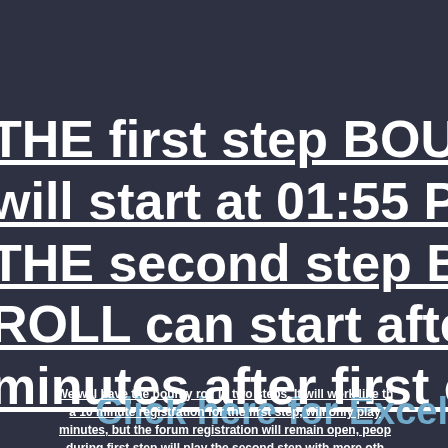THE first step BOUNTY will start at 01:55 PMC THE second step BO ROLL can start after minutes after first c
Click here for Excel
We will have the bounty roll in two steps. It will work like th a 10 minute registration for the first step, will only play minutes, but the forum registration will remain open, peop during first step will play the second step with more oth